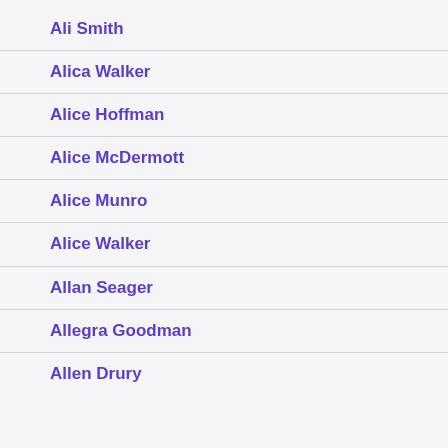Ali Smith
Alica Walker
Alice Hoffman
Alice McDermott
Alice Munro
Alice Walker
Allan Seager
Allegra Goodman
Allen Drury